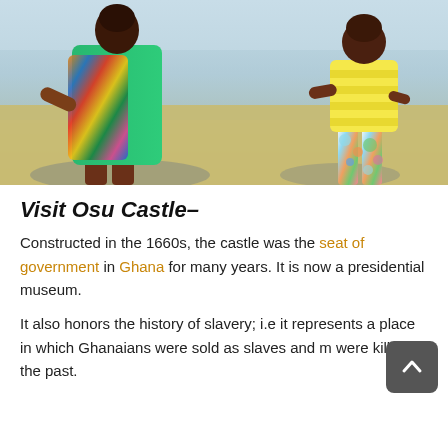[Figure (photo): Two people standing on a beach: a woman in a green dress with colorful patterned fabric, and a child in yellow-striped top with floral white pants, viewed from behind.]
Visit Osu Castle–
Constructed in the 1660s, the castle was the seat of government in Ghana for many years. It is now a presidential museum.
It also honors the history of slavery; i.e it represents a place in which Ghanaians were sold as slaves and m were killed in the past.